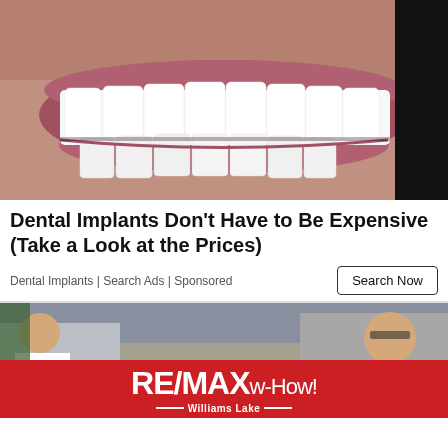[Figure (photo): Close-up photo of a man's mouth showing bright white dental implants/veneers, with stubble visible around the lips]
Dental Implants Don't Have to Be Expensive (Take a Look at the Prices)
Dental Implants | Search Ads | Sponsored
[Figure (photo): Office scene with people at desks, partially obscured by RE/MAX w-How! Williams Lake advertisement banner overlay]
[Figure (logo): RE/MAX w-How! Williams Lake logo on red background banner]